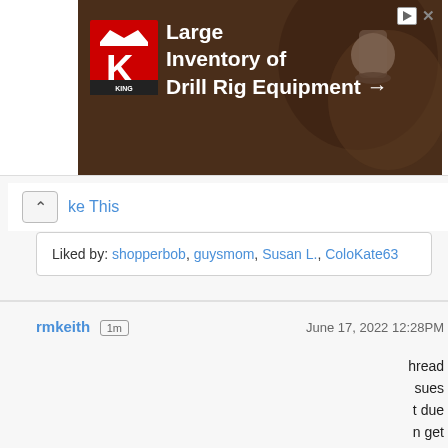[Figure (screenshot): Advertisement banner for King Oil Tools: Large Inventory of Drill Rig Equipment with right arrow. Red K logo with crown on dark brown background with drill equipment photo.]
ke This
Liked by: shopperbob, guysmom, Susan L., ColoKate63
rmkeith  1m   June 17, 2022 12:28PM
hread sues t due n get ately pt to e to l h I did
This website uses cookies to ensure you get the best experience on our website.
Learn more
Got it!